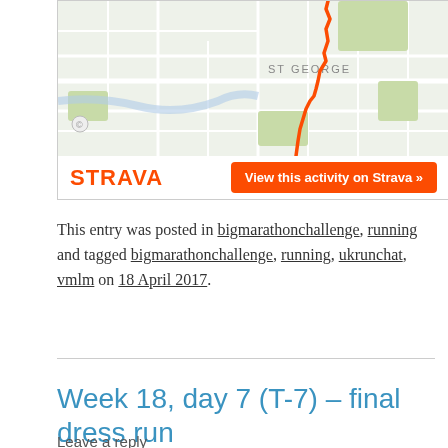[Figure (map): Strava activity map showing a running route through St George area, with an orange route line on a street map. Below the map is the Strava logo and a 'View this activity on Strava »' button.]
This entry was posted in bigmarathonchallenge, running and tagged bigmarathonchallenge, running, ukrunchat, vmlm on 18 April 2017.
Week 18, day 7 (T-7) – final dress run
Leave a reply